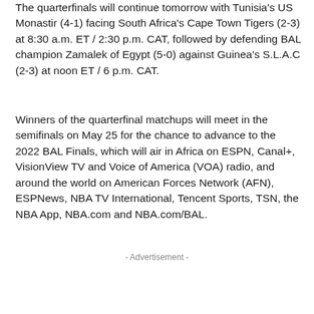The quarterfinals will continue tomorrow with Tunisia's US Monastir (4-1) facing South Africa's Cape Town Tigers (2-3) at 8:30 a.m. ET / 2:30 p.m. CAT, followed by defending BAL champion Zamalek of Egypt (5-0) against Guinea's S.L.A.C (2-3) at noon ET / 6 p.m. CAT.
Winners of the quarterfinal matchups will meet in the semifinals on May 25 for the chance to advance to the 2022 BAL Finals, which will air in Africa on ESPN, Canal+, VisionView TV and Voice of America (VOA) radio, and around the world on American Forces Network (AFN), ESPNews, NBA TV International, Tencent Sports, TSN, the NBA App, NBA.com and NBA.com/BAL.
- Advertisement -